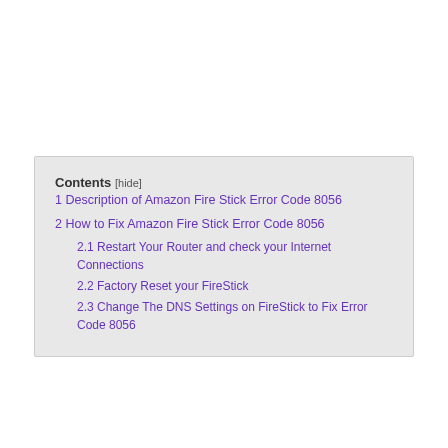Contents [hide]
1 Description of Amazon Fire Stick Error Code 8056
2 How to Fix Amazon Fire Stick Error Code 8056
2.1 Restart Your Router and check your Internet Connections
2.2 Factory Reset your FireStick
2.3 Change The DNS Settings on FireStick to Fix Error Code 8056